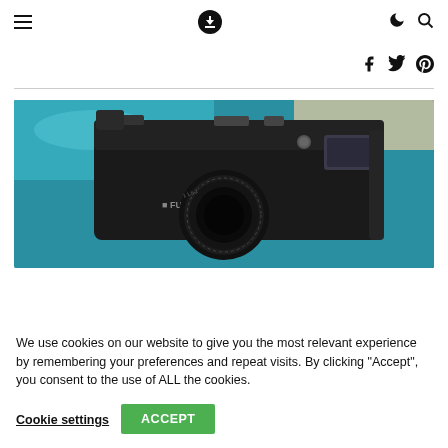Navigation bar with hamburger menu, download icon, moon/dark mode icon, and search icon
Social icons: Facebook, Twitter, Pinterest
[Figure (photo): Close-up photograph of a Fuji 6x9 Professional film camera, black body with lens, on a teal/blue background]
We use cookies on our website to give you the most relevant experience by remembering your preferences and repeat visits. By clicking “Accept”, you consent to the use of ALL the cookies.
Cookie settings   ACCEPT